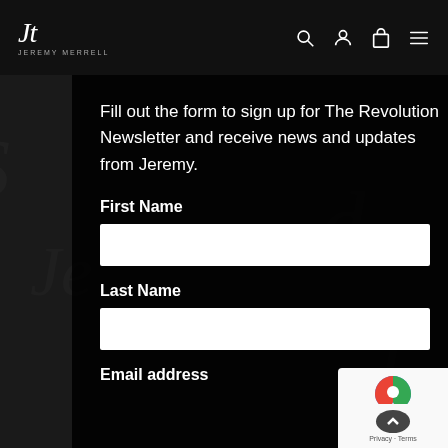Jeremy Merrell — navigation header with logo, search, account, cart, and menu icons
Fill out the form to sign up for The Revolution Newsletter and receive news and updates from Jeremy.
First Name
Last Name
Email address